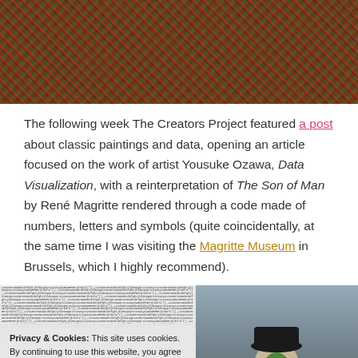[Figure (photo): Abstract colorful chaotic image resembling shredded or tangled colorful material, in reds, greens, blacks and metallics.]
The following week The Creators Project featured a post about classic paintings and data, opening an article focused on the work of artist Yousuke Ozawa, Data Visualization, with a reinterpretation of The Son of Man by René Magritte rendered through a code made of numbers, letters and symbols (quite coincidentally, at the same time I was visiting the Magritte Museum in Brussels, which I highly recommend).
[Figure (photo): Left half: ASCII/data art visualization made of tiny text characters forming an image. Right half: Photograph of a figure in a suit and hat, referencing Magritte's The Son of Man painting.]
Privacy & Cookies: This site uses cookies. By continuing to use this website, you agree to their use. To find out more, including how to control cookies, see here: Cookie Policy
Close and accept